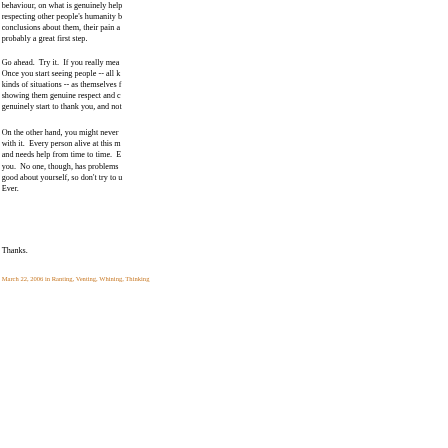behaviour, on what is genuinely help respecting other people's humanity b conclusions about them, their pain a probably a great first step.
Go ahead.  Try it.  If you really mea Once you start seeing people -- all k kinds of situations -- as themselves f showing them genuine respect and c genuinely start to thank you, and not
On the other hand, you might never with it.  Every person alive at this m and needs help from time to time.  E you.  No one, though, has problems good about yourself, so don't try to u Ever.
Thanks.
March 22, 2006 in Ranting, Venting, Whining, Thinking